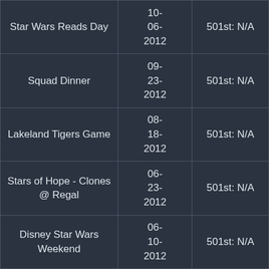| Event | Date | Status |
| --- | --- | --- |
| Star Wars Reads Day | 10-06-2012 | 501st: N/A |
| Squad Dinner | 09-23-2012 | 501st: N/A |
| Lakeland Tigers Game | 08-18-2012 | 501st: N/A |
| Stars of Hope - Clones @ Regal | 06-23-2012 | 501st: N/A |
| Disney Star Wars Weekend | 06-10-2012 | 501st: N/A |